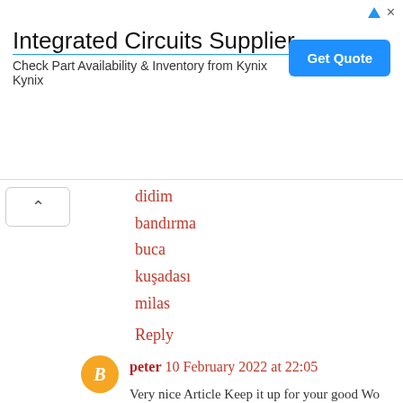[Figure (other): Advertisement banner for 'Integrated Circuits Supplier' from Kynix with a 'Get Quote' button]
didim
bandırma
buca
kuşadası
milas
Reply
peter 10 February 2022 at 22:05
Very nice Article Keep it up for your good Wo... content was really very interesting. I am rea... unique information You have a good point here
Reply